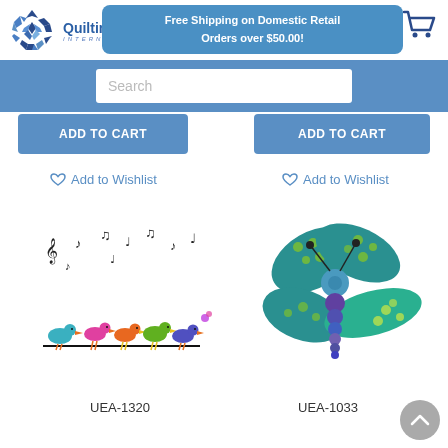[Figure (logo): Quilting Creations International logo with decorative snowflake/quilt block icon in blue tones]
Free Shipping on Domestic Retail Orders over $50.00!
Search
ADD TO CART
ADD TO CART
Add to Wishlist
Add to Wishlist
[Figure (illustration): Colorful birds sitting on a wire/branch with musical notes floating above them, UEA-1320]
[Figure (illustration): Patchwork dragonfly made of teal and purple fabric-patterned pieces, UEA-1033]
UEA-1320
UEA-1033